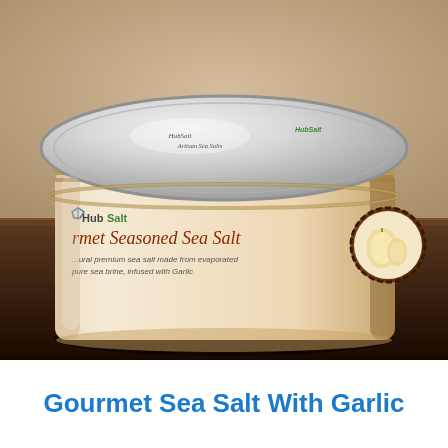[Figure (photo): A jar of HubSalt Gourmet Seasoned Sea Salt with Garlic, featuring a silver metal lid and a cream-colored label with brown and green text. The jar sits on a dark wooden surface against a warm tan background.]
Gourmet Sea Salt With Garlic